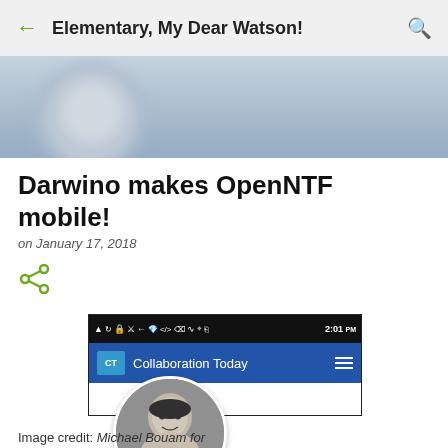Elementary, My Dear Watson!
[Figure (photo): Blurred profile cover photo with circular avatar placeholder]
Darwino makes OpenNTF mobile!
on January 17, 2018
[Figure (screenshot): Mobile app screenshot showing Collaboration Today app with status bar reading 2:01 PM]
[Figure (photo): Circular black and white headshot photo of a smiling man]
Image credit: Michael Bouam for